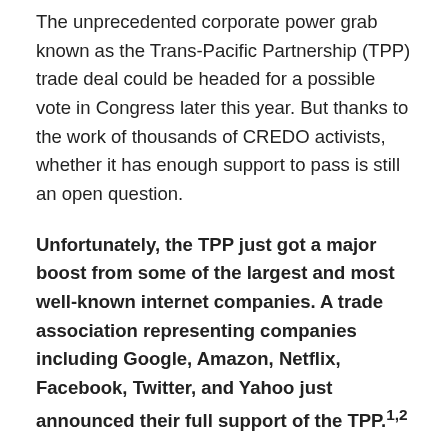The unprecedented corporate power grab known as the Trans-Pacific Partnership (TPP) trade deal could be headed for a possible vote in Congress later this year. But thanks to the work of thousands of CREDO activists, whether it has enough support to pass is still an open question.
Unfortunately, the TPP just got a major boost from some of the largest and most well-known internet companies. A trade association representing companies including Google, Amazon, Netflix, Facebook, Twitter, and Yahoo just announced their full support of the TPP.1,2
This is outrageous. The TPP is antithetical to the interests of internet users. Furthermore, many of these companies